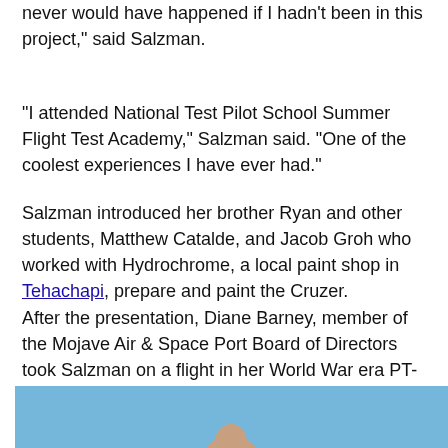never would have happened if I hadn't been in this project," said Salzman.
"I attended National Test Pilot School Summer Flight Test Academy," Salzman said. "One of the coolest experiences I have ever had."
Salzman introduced her brother Ryan and other students, Matthew Catalde, and Jacob Groh who worked with Hydrochrome, a local paint shop in Tehachapi, prepare and paint the Cruzer.
After the presentation, Diane Barney, member of the Mojave Air & Space Port Board of Directors took Salzman on a flight in her World War era PT-17 Stearman.
[Figure (photo): Bottom portion of a photograph showing a blue sky background with a partial figure visible at the bottom edge]